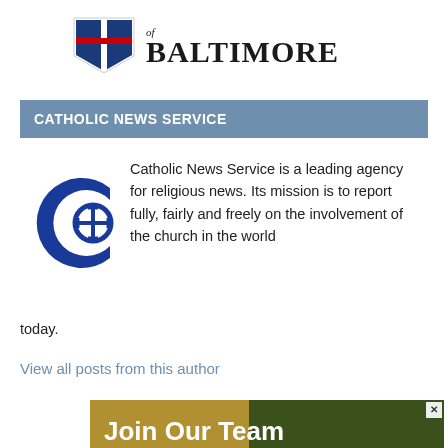[Figure (logo): Archdiocese of Baltimore shield logo with text 'of BALTIMORE']
CATHOLIC NEWS SERVICE
[Figure (logo): Catholic News Service blue C logo with cross symbol]
Catholic News Service is a leading agency for religious news. Its mission is to report fully, fairly and freely on the involvement of the church in the world today.
View all posts from this author
[Figure (infographic): Advertisement banner reading 'Join Our Team archbalt.jobs.net' with gold and dark green/photo background]